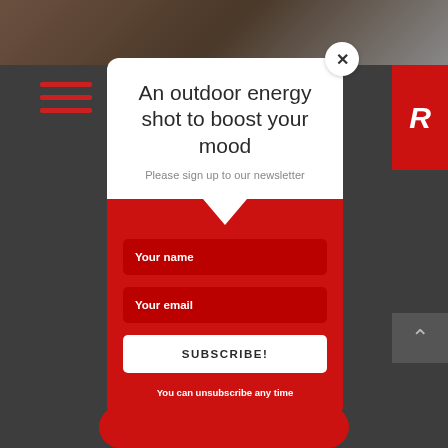[Figure (screenshot): Website background showing dark navigation header with red hamburger menu lines and partial outdoor photo at top]
An outdoor energy shot to boost your mood
Please sign up to our newsletter
Your name
Your email
SUBSCRIBE!
You can unsubscribe any time